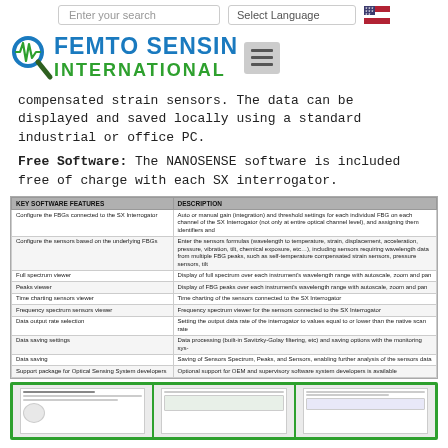Enter your search | Select Language
[Figure (logo): Femto Sensing International logo with heartbeat waveform and magnifying glass icon]
compensated strain sensors. The data can be displayed and saved locally using a standard industrial or office PC.
Free Software: The NANOSENSE software is included free of charge with each SX interrogator.
| KEY SOFTWARE FEATURES | DESCRIPTION |
| --- | --- |
| Configure the FBGs connected to the SX Interrogator | Auto or manual gain (integration) and threshold settings for each individual FBG on each channel of the SX Interrogator (not only at entire optical channel level), and assigning them identifiers and |
| Configure the sensors based on the underlying FBGs | Enter the sensors formulas (wavelength to temperature, strain, displacement, acceleration, pressure, vibration, tilt, chemical exposure, etc…), including sensors requiring wavelength data from multiple FBG peaks, such as self-temperature compensated strain sensors, pressure sensors, tilt |
| Full spectrum viewer | Display of full spectrum over each instrument's wavelength range with autoscale, zoom and pan |
| Peaks viewer | Display of FBG peaks over each instrument's wavelength range with autoscale, zoom and pan |
| Time charting sensors viewer | Time charting of the sensors connected to the SX Interrogator |
| Frequency spectrum sensors viewer | Frequency spectrum viewer for the sensors connected to the SX Interrogator |
| Data output rate selection | Setting the output data rate of the interrogator to values equal to or lower than the native scan rate |
| Data saving settings | Data processing (built-in Savitzky-Golay filtering, etc) and saving options with the monitoring sys- |
| Data saving | Saving of Sensors Spectrum, Peaks, and Sensors, enabling further analysis of the sensors data |
| Support package for Optical Sensing System developers | Optional support for OEM and supervisory software system developers is available |
[Figure (screenshot): Three screenshots of NANOSENSE software interface panels]